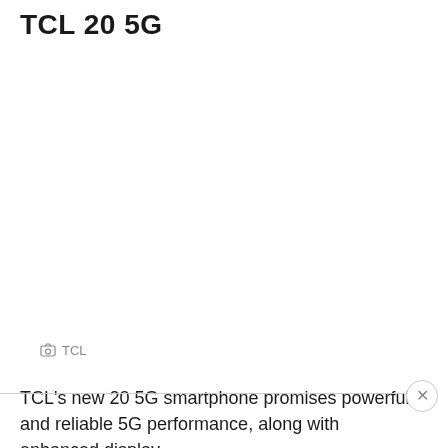TCL 20 5G
[Figure (photo): White/blank image area for TCL 20 5G smartphone photo]
📷 TCL
TCL's new 20 5G smartphone promises powerful and reliable 5G performance, along with enhanced display